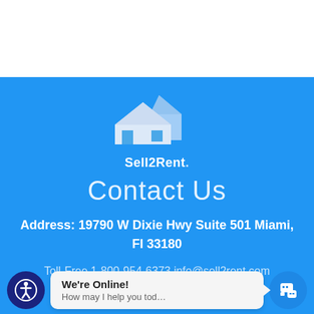[Figure (logo): Sell2Rent logo: two overlapping house silhouettes in white/light blue on blue background, with brand name 'Sell2Rent.' below]
Contact Us
Address: 19790 W Dixie Hwy Suite 501 Miami, Fl 33180
Toll-Free 1-800-954-6373 info@sell2rent.com
[Figure (screenshot): Live chat widget at bottom: accessibility button (dark blue circle with person icon), chat bubble saying 'We're Online! How may I help you tod…', and chat icon button (blue circle)]